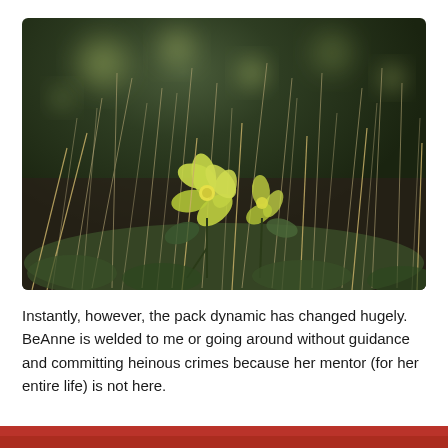[Figure (photo): Close-up nature photograph of yellow-green flowers nestled among dry grass and green vegetation, with a blurred dark green bokeh background.]
Instantly, however, the pack dynamic has changed hugely. BeAnne is welded to me or going around without guidance and committing heinous crimes because her mentor (for her entire life) is not here.
[Figure (photo): Partial view of a red-toned photograph visible at the bottom of the page.]